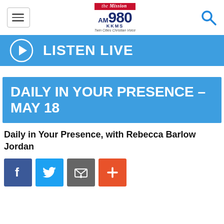the Mission AM 980 KKMS Twin Cities Christian Voice
[Figure (other): Listen Live banner with play button icon and text LISTEN LIVE on blue background]
DAILY IN YOUR PRESENCE - MAY 18
Daily in Your Presence, with Rebecca Barlow Jordan
[Figure (other): Social sharing buttons: Facebook (blue), Twitter (blue), Email (gray), Plus/AddThis (orange-red)]